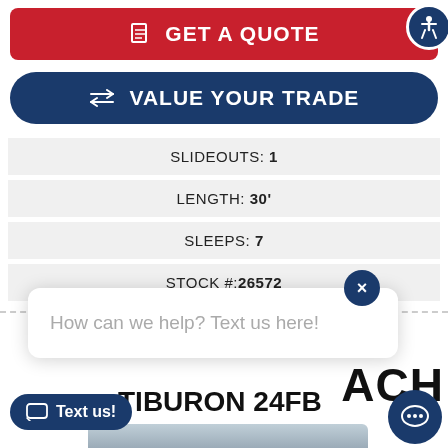[Figure (screenshot): Red GET A QUOTE button with document icon and blue accessibility icon button on right]
[Figure (screenshot): Dark navy VALUE YOUR TRADE button with swap arrows icon]
| SLIDEOUTS: 1 |
| LENGTH: 30' |
| SLEEPS: 7 |
| STOCK #: 26572 |
[Figure (screenshot): Chat bubble popup with close X button and text 'How can we help? Text us here!']
ACH
TIBURON 24FB
[Figure (screenshot): Text us! button (dark navy pill shape) and chat icon circle button on right]
[Figure (photo): Partial photo of Tiburon RV coach at bottom of page]